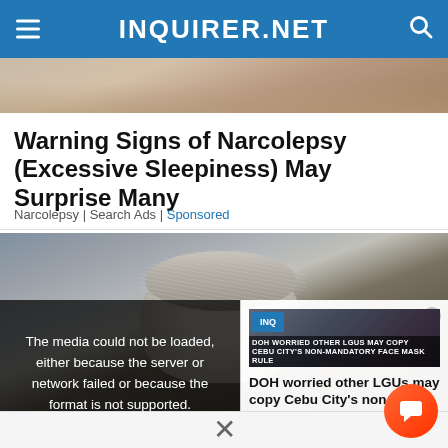INQUIRER.NET
[Figure (photo): Partial photo strip at top — appears to show a person resting/sleeping, cropped]
Warning Signs of Narcolepsy (Excessive Sleepiness) May Surprise Many
Narcolepsy | Search Ads | Sponsored
[Figure (photo): Photo of an elderly person with grey hair resting head down on a surface, suggesting narcolepsy/sleepiness]
The media could not be loaded, either because the server or network failed or because the format is not supported.
DOH worried other LGUs may copy Cebu City's non-mandatory face ma…
[Figure (screenshot): Thumbnail of news video showing text DOH WORRIED OTHER LGUS MAY COPY CEBU CITY'S NON-MANDATORY FACE MASK RULE]